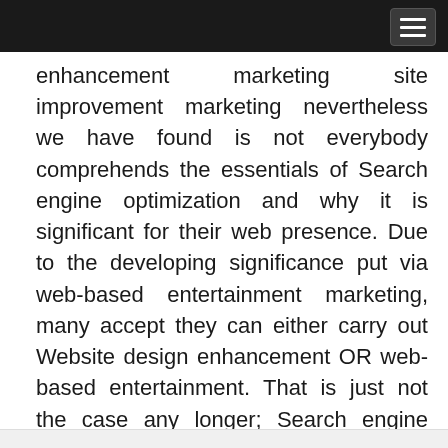enhancement marketing site improvement marketing nevertheless we have found is not everybody comprehends the essentials of Search engine optimization and why it is significant for their web presence. Due to the developing significance put via web-based entertainment marketing, many accept they can either carry out Website design enhancement OR web-based entertainment. That is just not the case any longer; Search engine optimization remains closely connected with online entertainment for a decent site methodology.